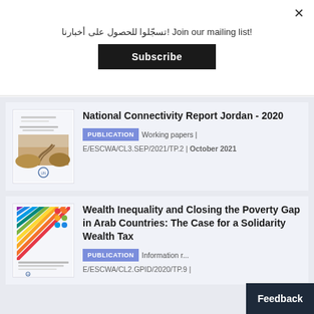تسجّلوا للحصول على أخبارنا! Join our mailing list!
Subscribe
National Connectivity Report Jordan - 2020
PUBLICATION   Working papers | E/ESCWA/CL3.SEP/2021/TP.2 | October 2021
Wealth Inequality and Closing the Poverty Gap in Arab Countries: The Case for a Solidarity Wealth Tax
PUBLICATION   Information r... E/ESCWA/CL2.GPID/2020/TP.9 |